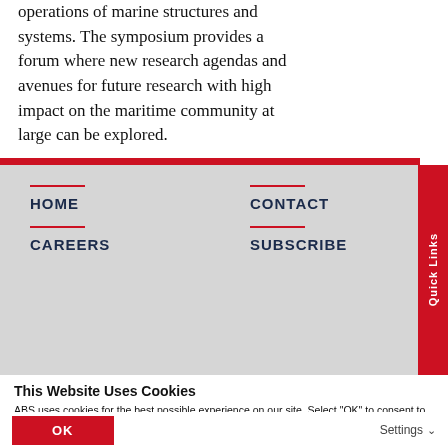operations of marine structures and systems. The symposium provides a forum where new research agendas and avenues for future research with high impact on the maritime community at large can be explored.
HOME
CONTACT
CAREERS
SUBSCRIBE
This Website Uses Cookies
ABS uses cookies for the best possible experience on our site. Select "OK" to consent to these cookies in accordance with our cookie policy. If you take no action, cookies will not be collected. Select "Show details" to change your cookie preferences.